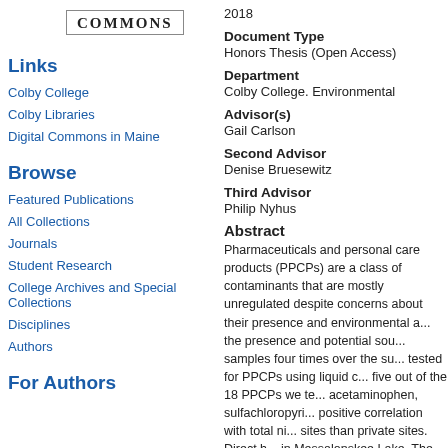[Figure (logo): COMMONS logo in a bordered box]
Links
Colby College
Colby Libraries
Digital Commons in Maine
Browse
Featured Publications
All Collections
Journals
Student Research
College Archives and Special Collections
Disciplines
Authors
For Authors
2018
Document Type
Honors Thesis (Open Access)
Department
Colby College. Environmental
Advisor(s)
Gail Carlson
Second Advisor
Denise Bruesewitz
Third Advisor
Philip Nyhus
Abstract
Pharmaceuticals and personal care products (PPCPs) are a class of contaminants that are mostly unregulated despite concerns about their presence and environmental accumulation. This study aimed to characterize the presence and potential sources of PPCPs in Messalonskee Lake by sampling water samples four times over the summer of 2017. Water samples were tested for PPCPs using liquid chromatography-mass spectrometry. We found five out of the 18 PPCPs we tested were present, including caffeine, acetaminophen, sulfachloropyridazine, triclocarban, and DEET. We found a positive correlation with total nitrogen concentration. Public access sites had more sites than private sites. Direct human recreational activity may play a role in Messalonskee Lake. The sig